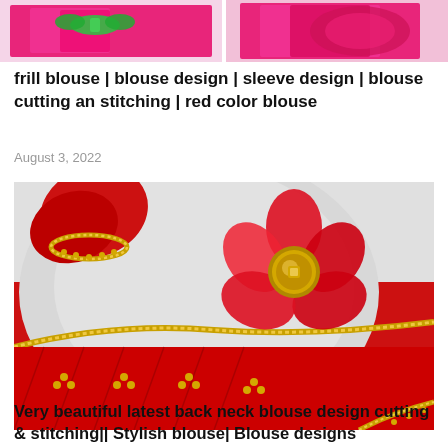[Figure (photo): Two cropped images of colorful blouse designs side by side — left shows pink/fuchsia fabric with green embroidery, right shows similar pink blouse detail]
frill blouse | blouse design | sleeve design | blouse cutting an stitching | red color blouse
August 3, 2022
[Figure (photo): Close-up photo of a red blouse with gold trim, featuring a large fabric flower rosette with a gold button center, pleated fabric details with gold bead embellishments on a light gray background]
Very beautiful latest back neck blouse design cutting & stitching|| Stylish blouse| Blouse designs